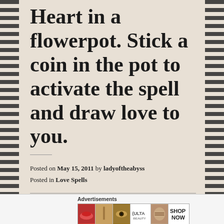Heart in a flowerpot. Stick a coin in the pot to activate the spell and draw love to you.
Posted on May 15, 2011 by ladyoftheabyss
Posted in Love Spells
Grow a Lover Spell (2) Basil
[Figure (photo): Advertisement banner for Ulta Beauty showing close-up beauty/makeup photos with text SHOP NOW]
Advertisements